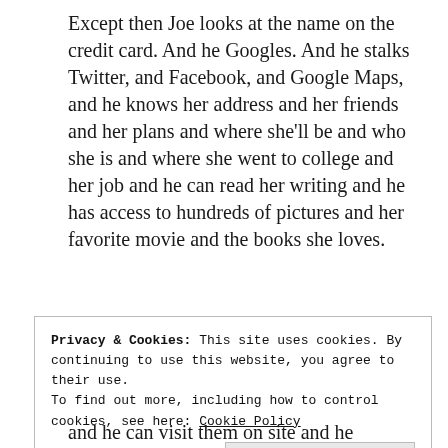Except then Joe looks at the name on the credit card. And he Googles. And he stalks Twitter, and Facebook, and Google Maps, and he knows her address and her friends and her plans and where she'll be and who she is and where she went to college and her job and he can read her writing and he has access to hundreds of pictures and her favorite movie and the books she loves.
[Figure (other): Jetpack advertisement banner - green background with Jetpack logo on left and 'Back up your site' text on right]
Privacy & Cookies: This site uses cookies. By continuing to use this website, you agree to their use.
To find out more, including how to control cookies, see here: Cookie Policy
Close and accept
and he can visit them on site and he